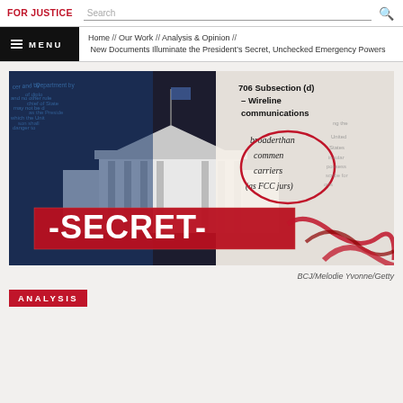FOR JUSTICE | Search
Home // Our Work // Analysis & Opinion // New Documents Illuminate the President's Secret, Unchecked Emergency Powers
[Figure (photo): Composite image showing the White House in black and white, overlaid with a circled handwritten note reading 'broadband common carriers (as FCC jurs)' next to text '706 Subsection (d) – Wireline communications', a red stamp reading SECRET with dashes on either side, and red scribble marks. Background includes faded blue text of legal documents.]
BCJ/Melodie Yvonne/Getty
ANALYSIS